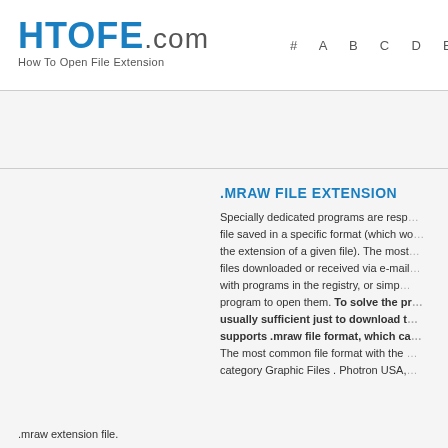HTOFE.com How To Open File Extension
# A B C D E F G H I J
How to open .MRAW file exte…
.MRAW FILE EXTENSION
Specially dedicated programs are responsible for opening a file saved in a specific format (which we can recognize from the extension of a given file). The most common problem with files downloaded or received via e-mail is having problems with programs in the registry, or simply not having the right program to open them. To solve the problem, it is usually sufficient just to download the program that supports .mraw file format, which ca… The most common file format with the … category Graphic Files . Photron USA,
.mraw extension file.